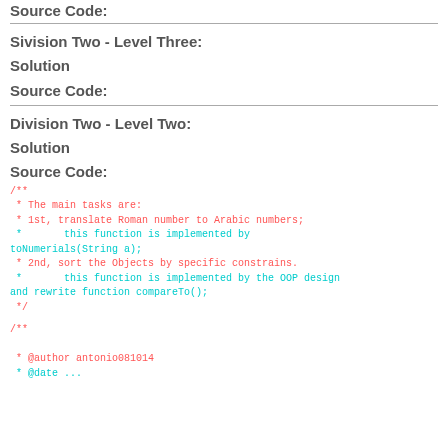Source Code:
Sivision Two - Level Three:
Solution
Source Code:
Division Two - Level Two:
Solution
Source Code:
/**
 * The main tasks are:
 * 1st, translate Roman number to Arabic numbers;
 *       this function is implemented by toNumerials(String a);
 * 2nd, sort the Objects by specific constrains.
 *       this function is implemented by the OOP design and rewrite function compareTo();
 */
/**
 * @author antonio081014
 * @date ...